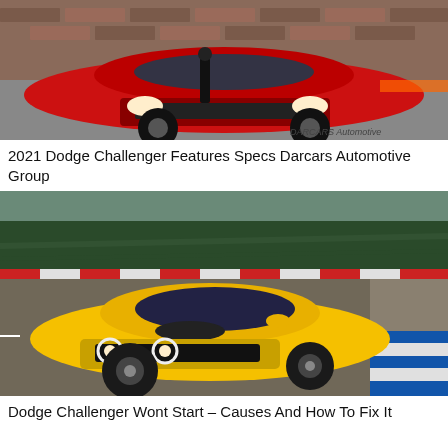[Figure (photo): Red Dodge Challenger muscle car parked in a lot, front three-quarter view, with a person standing behind it. Brick wall in background.]
2021 Dodge Challenger Features Specs Darcars Automotive Group
[Figure (photo): Yellow Dodge Challenger SRT muscle car driving on a racetrack, front three-quarter view with motion blur on background trees and track curbs.]
Dodge Challenger Wont Start – Causes And How To Fix It